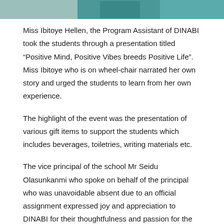[Figure (photo): Partial photo strip at top of page showing people, cropped at top]
Miss Ibitoye Hellen, the Program Assistant of DINABI took the students through a presentation titled “Positive Mind, Positive Vibes breeds Positive Life”. Miss Ibitoye who is on wheel-chair narrated her own story and urged the students to learn from her own experience.
The highlight of the event was the presentation of various gift items to support the students which includes beverages, toiletries, writing materials etc.
The vice principal of the school Mr Seidu Olasunkanmi who spoke on behalf of the principal who was unavoidable absent due to an official assignment expressed joy and appreciation to DINABI for their thoughtfulness and passion for the issues of persons with disabilities. He said DINABI is the first NGO founded by a PWD to visit the school.